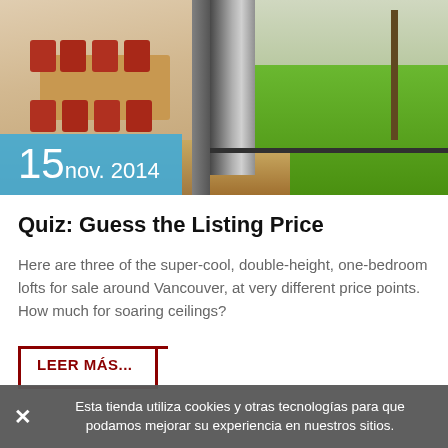[Figure (photo): Interior photo of a dining room with red chairs and wooden table on the left, and exterior view of green lawn through glass sliding doors on the right. A date badge '15 nov. 2014' is overlaid on the bottom-left of the image.]
Quiz: Guess the Listing Price
Here are three of the super-cool, double-height, one-bedroom lofts for sale around Vancouver, at very different price points. How much for soaring ceilings?
LEER MÁS...
Esta tienda utiliza cookies y otras tecnologías para que podamos mejorar su experiencia en nuestros sitios.